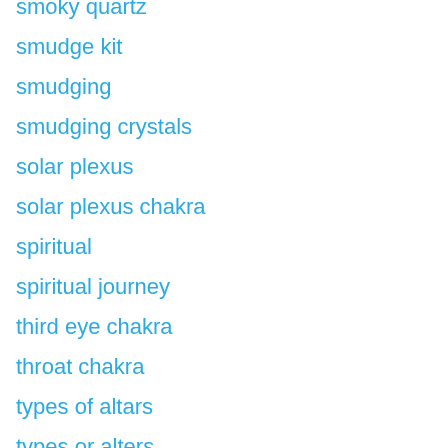smoky quartz
smudge kit
smudging
smudging crystals
solar plexus
solar plexus chakra
spiritual
spiritual journey
third eye chakra
throat chakra
types of altars
types or alters
unblocking chakras
unblocking my sacral chakra